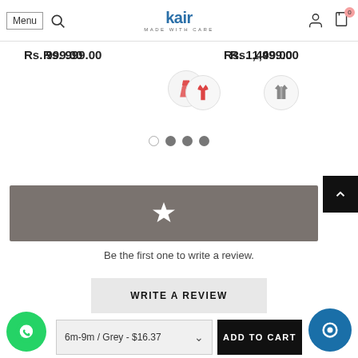Menu | [search icon] | kair MADE WITH CARE | [user icon] | [cart icon] 0
Rs. 999.00
Rs. 1,499.00
[Figure (illustration): Pink/red dress icon in a light circle]
[Figure (illustration): Grey jacket/coat icon in a light circle]
[Figure (other): Carousel dots: one empty circle, three filled grey circles]
[Figure (other): Dark grey star rating banner with a white star icon]
Be the first one to write a review.
WRITE A REVIEW
6m-9m / Grey - $16.37
ADD TO CART